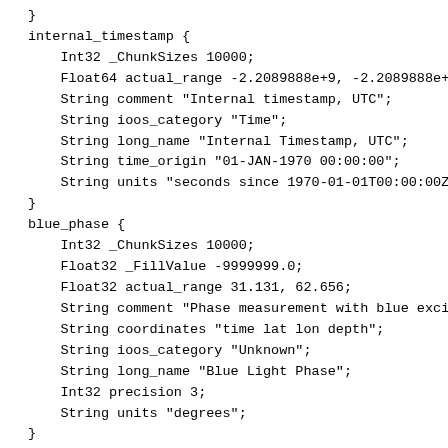}
internal_timestamp {
    Int32 _ChunkSizes 10000;
    Float64 actual_range -2.2089888e+9, -2.2089888e+9;
    String comment "Internal timestamp, UTC";
    String ioos_category "Time";
    String long_name "Internal Timestamp, UTC";
    String time_origin "01-JAN-1970 00:00:00";
    String units "seconds since 1970-01-01T00:00:00Z";
}
blue_phase {
    Int32 _ChunkSizes 10000;
    Float32 _FillValue -9999999.0;
    Float32 actual_range 31.131, 62.656;
    String comment "Phase measurement with blue excita
    String coordinates "time lat lon depth";
    String ioos_category "Unknown";
    String long_name "Blue Light Phase";
    Int32 precision 3;
    String units "degrees";
}
serial_number {
    Int32 _ChunkSizes 10000, 3;
    String comment "Serial Number";
    String coordinates "time lat lon depth";
    String ioos_category "Unknown";